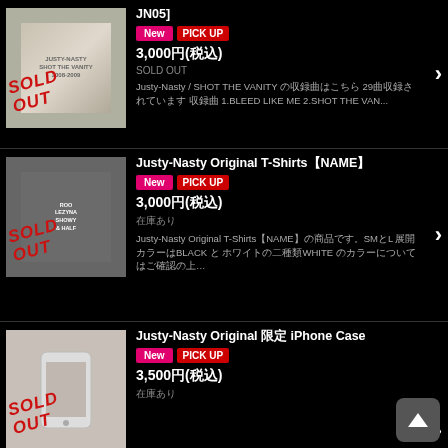[Figure (photo): CD product image with SOLD OUT stamp overlay - Item 1]
JN05]
New | PICK UP
3,000円(税込)
SOLD OUT
Justy-Nasty / SHOT THE VANITY 収録曲はこちら29曲収録されています 収録曲 1.BLEED LIKE ME 2.SHOT THE VAN...
[Figure (photo): Gray T-shirt with SOLD OUT stamp overlay - Item 2]
Justy-Nasty Original T-Shirts【NAME】
New | PICK UP
3,000円(税込)
在庫あり
Justy-Nasty Original T-Shirts【NAME】の商品です。SМとL 展開カラーはBLACK と ホワイトの二種類WHITE のカラーについては...
[Figure (photo): iPhone case product image with SOLD OUT stamp overlay - Item 3]
Justy-Nasty Original 限定 iPhone Case
New | PICK UP
3,500円(税込)
在庫あり